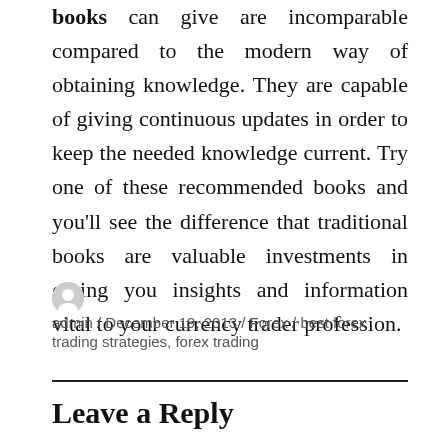books can give are incomparable compared to the modern way of obtaining knowledge. They are capable of giving continuous updates in order to keep the needed knowledge current. Try one of these recommended books and you'll see the difference that traditional books are valuable investments in giving you insights and information vital to your currency trader profession.
admin / December 19, 2013 / Forex / best forex trading strategies, forex trading
Leave a Reply